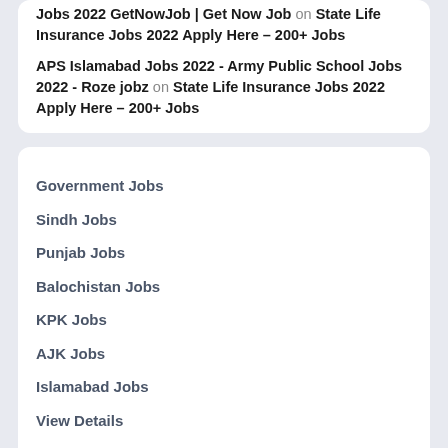Jobs 2022 GetNowJob | Get Now Job on State Life Insurance Jobs 2022 Apply Here – 200+ Jobs
APS Islamabad Jobs 2022 - Army Public School Jobs 2022 - Roze jobz on State Life Insurance Jobs 2022 Apply Here – 200+ Jobs
Government Jobs
Sindh Jobs
Punjab Jobs
Balochistan Jobs
KPK Jobs
AJK Jobs
Islamabad Jobs
View Details
View Details
View Details
View Details
View Details